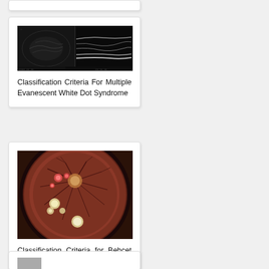[Figure (photo): OCT (optical coherence tomography) image showing retinal cross-section, black and white, two panels side by side]
Classification Criteria For Multiple Evanescent White Dot Syndrome
[Figure (photo): Fundus photograph showing retina with bright white lesions/dots and blood vessels on a reddish-brown background, circular field of view]
Classification Criteria for Behçet Disease Uveitis